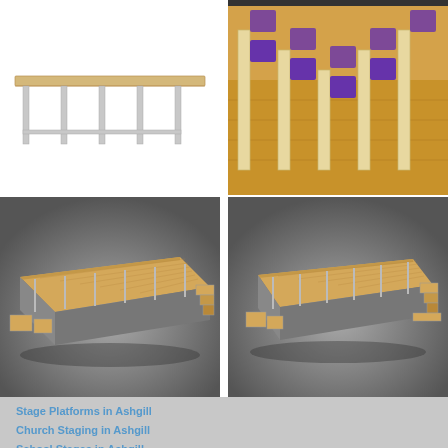[Figure (illustration): 3D render of a long modular table or bench with metal frame legs, shown from the side on white background]
[Figure (photo): Photo of tiered seating with purple upholstered chairs and wooden/metal frame risers on a wooden floor]
[Figure (illustration): 3D render of a large modular stage platform with wooden surface and metal underframe, with integrated steps, shown from angle view on grey gradient background]
[Figure (illustration): 3D render of a large modular stage platform with wooden surface and metal underframe, with steps on right side, shown from slightly different angle on grey gradient background]
Stage Platforms in Ashgill
Church Staging in Ashgill
School Stages in Ashgill
Mobile Staging in Ashgill
Tiered Seating in Ashgill
Awards Stand in Ashgill